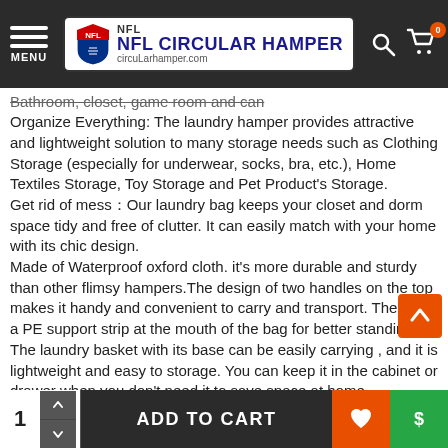NFL CIRCULAR HAMPER — circuLarhamper.com
Bathroom, closet, game room and can
Organize Everything: The laundry hamper provides attractive and lightweight solution to many storage needs such as Clothing Storage (especially for underwear, socks, bra, etc.), Home Textiles Storage, Toy Storage and Pet Product's Storage.
Get rid of mess：Our laundry bag keeps your closet and dorm space tidy and free of clutter. It can easily match with your home with its chic design.
Made of Waterproof oxford cloth. it's more durable and sturdy than other flimsy hampers.The design of two handles on the top makes it handy and convenient to carry and transport. There is a PE support strip at the mouth of the bag for better standing.
The laundry basket with its base can be easily carrying , and it is lightweight and easy to storage. You can keep it in the cabinet or drawer when you don't need it to save space at home.
Stylish and Simple Appearance offers natural and stylish aesthetics for seamless coordinating with surrounding décor